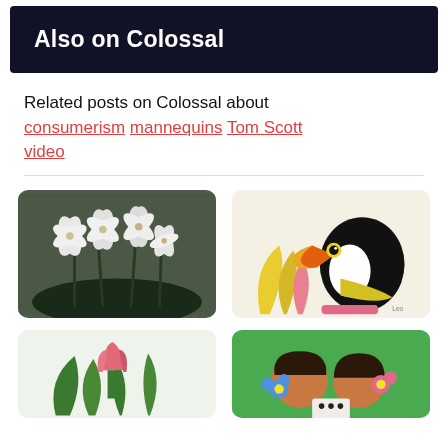Also on Colossal
Related posts on Colossal about consumerism  mannequins  Tom Scott  video
[Figure (photo): Painting of white lilies on dark green-grey background]
[Figure (illustration): Flat graphic illustration of a toucan with tropical leaves on light background]
[Figure (photo): Botanical illustration with pink tulip and green leaves on light background]
[Figure (illustration): Colorful illustration of two figures with flowers on green background]